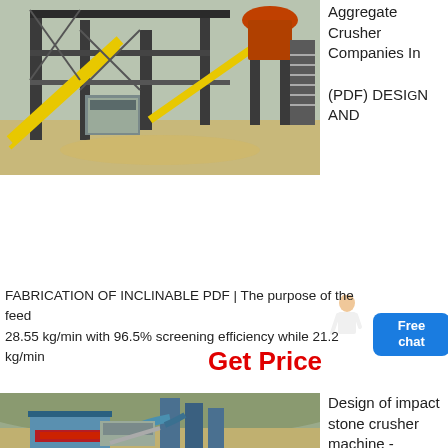[Figure (photo): Industrial stone crusher and aggregate processing plant with metal scaffolding, conveyors, and machinery at a mining site]
Aggregate Crusher Companies In (PDF) DESIGN AND
FABRICATION OF INCLINABLE PDF | The purpose of the feed 28.55 kg/min with 96.5% screening efficiency while 21.2 kg/min
Get Price
[Figure (photo): Impact stone crusher machine at a quarry site with blue industrial dust collectors and processing equipment against a hillside]
Design of impact stone crusher machine - CiteFactor